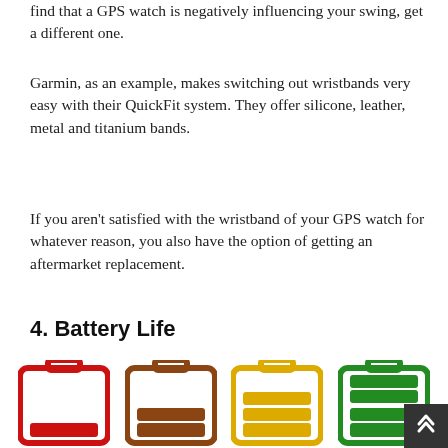find that a GPS watch is negatively influencing your swing, get a different one.
Garmin, as an example, makes switching out wristbands very easy with their QuickFit system. They offer silicone, leather, metal and titanium bands.
If you aren't satisfied with the wristband of your GPS watch for whatever reason, you also have the option of getting an aftermarket replacement.
4. Battery Life
[Figure (illustration): Four battery icons in a row showing different charge levels: empty/low (red), quarter charge (brown/dark orange), half to three-quarters charge (yellow), and full charge (green).]